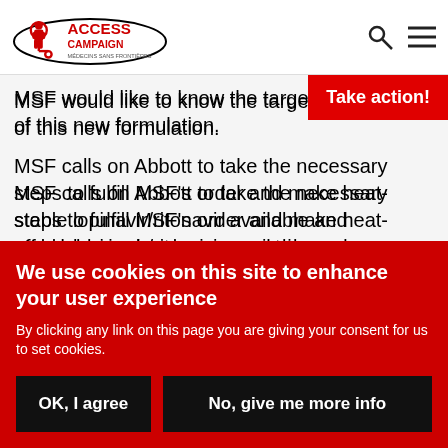ACCESS CAMPAIGN | MSF (Médecins Sans Frontières) logo, search icon, menu icon
MSF would like to know the target availability of this new formulation.
MSF calls on Abbott to take the necessary steps to fulfill MSF's order and make heat-stable lopinavir/ritonavir available and affordable in developing countries as numerous HIV/AIDS researchers, care providers and treatment
Take action!
We use cookies on this site to enhance your user experience
By clicking any link on this page you are giving your consent for us to set cookies.
OK, I agree
No, give me more info